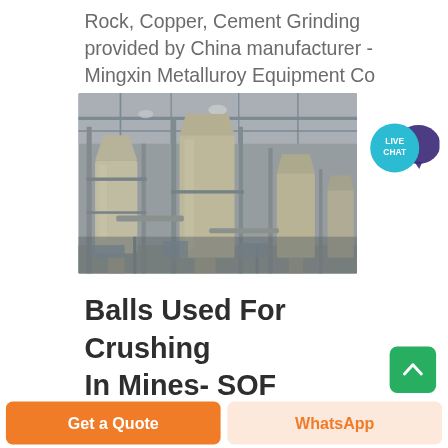Rock, Copper, Cement Grinding provided by China manufacturer - Mingxin Metalluroy Equipment Co
[Figure (photo): Industrial grinding/milling equipment inside a large factory hall — large cream-colored cylindrical hoppers and metal framework structures]
Balls Used For Crushing In Mines- SOF Mining Machine
Get a Quote
WhatsApp